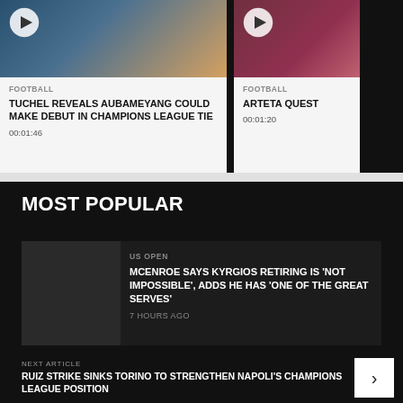[Figure (screenshot): Video thumbnail for Tuchel Champions League article with play button]
FOOTBALL
TUCHEL REVEALS AUBAMEYANG COULD MAKE DEBUT IN CHAMPIONS LEAGUE TIE
00:01:46
[Figure (screenshot): Partially visible video thumbnail for Arteta article with play button]
FOOTBALL
ARTETA QUEST
00:01:20
MOST POPULAR
[Figure (photo): Article thumbnail image placeholder]
US OPEN
MCENROE SAYS KYRGIOS RETIRING IS 'NOT IMPOSSIBLE', ADDS HE HAS 'ONE OF THE GREAT SERVES'
7 HOURS AGO
NEXT ARTICLE
RUIZ STRIKE SINKS TORINO TO STRENGTHEN NAPOLI'S CHAMPIONS LEAGUE POSITION